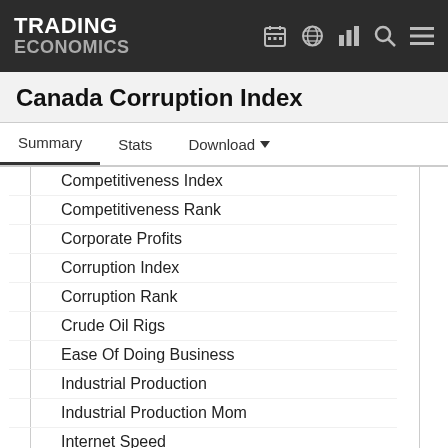TRADING ECONOMICS
Canada Corruption Index
Summary | Stats | Download
Competitiveness Index
Competitiveness Rank
Corporate Profits
Corruption Index
Corruption Rank
Crude Oil Rigs
Ease Of Doing Business
Industrial Production
Industrial Production Mom
Internet Speed
IP Addresses
Manufacturing PMI
Manufacturing Production
Manufacturing Sales
Mining Production